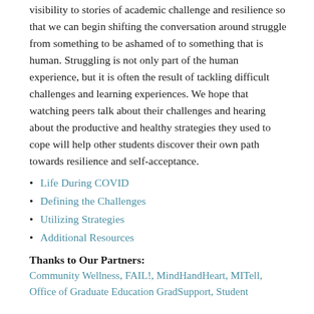visibility to stories of academic challenge and resilience so that we can begin shifting the conversation around struggle from something to be ashamed of to something that is human. Struggling is not only part of the human experience, but it is often the result of tackling difficult challenges and learning experiences. We hope that watching peers talk about their challenges and hearing about the productive and healthy strategies they used to cope will help other students discover their own path towards resilience and self-acceptance.
Life During COVID
Defining the Challenges
Utilizing Strategies
Additional Resources
Thanks to Our Partners:
Community Wellness, FAIL!, MindHandHeart, MITell, Office of Graduate Education GradSupport, Student